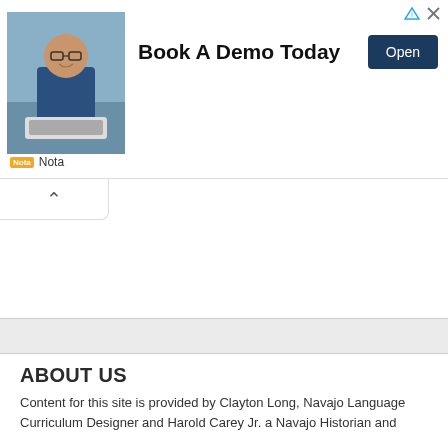[Figure (screenshot): Advertisement banner: photo of a smiling man in a blue shirt sitting at a desk with a laptop. Text reads 'Book A Demo Today' with an 'Open' button. Branded with 'Nota' logo.]
ABOUT US
Content for this site is provided by Clayton Long, Navajo Language Curriculum Designer and Harold Carey Jr. a Navajo Historian and